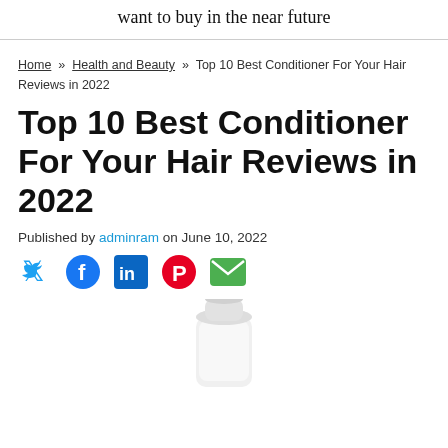want to buy in the near future
Home » Health and Beauty » Top 10 Best Conditioner For Your Hair Reviews in 2022
Top 10 Best Conditioner For Your Hair Reviews in 2022
Published by adminram on June 10, 2022
[Figure (infographic): Social media share icons: Twitter (blue bird), Facebook (blue circle), LinkedIn (blue square), Pinterest (red circle), Email (green envelope)]
[Figure (photo): Partial image of a white hair conditioner bottle cap/top, shown from above against a white background]